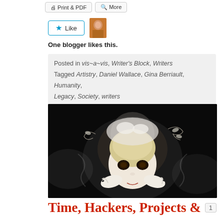[Figure (screenshot): Print & PDF and More buttons at top of blog page]
[Figure (screenshot): Like button with star icon and blogger avatar photo]
One blogger likes this.
Posted in vis~a~vis, Writer's Block, Writers
Tagged Artistry, Daniel Wallace, Gina Berriault, Humanity, Legacy, Society, writers
[Figure (photo): Artistic photo of a pale doll-like figure with blonde hair adorned with white flowers and leaves, hands cradling face, on black background]
Time, Hackers, Projects &